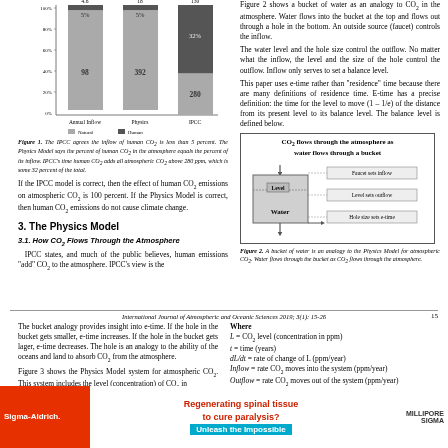[Figure (stacked-bar-chart): Annual Inflows and Atmospheric CO2]
Figure 1. The IPCC agrees the inflow of human CO2 is less than 5 percent. The Physics Model says the percent of human CO2 in the atmosphere equals the percent of its inflow. IPCC's time human CO2 adds all atmospheric CO2 above 280 ppm, which is some 32 percent of the total.
If the IPCC model is correct, then the effect of human CO2 emissions on atmospheric CO2 is 100 percent. If the Physics Model is correct, then human CO2 emissions do not cause climate change.
3. The Physics Model
3.1. How CO2 Flows Through the Atmosphere
IPCC states, and much of the public believes, human emissions "add" CO2 to the atmosphere. IPCC's view is the
Figure 2 shows a bucket of water as an analogy to CO2 in the atmosphere. Water flows into the bucket at the top and flows out through a hole in the bottom. An outside source (faucet) controls the inflow.
The water level and the hole size control the outflow. No matter what the inflow, the level and the size of the hole control the outflow. Inflow only serves to set a balance level.
This paper uses e-time rather than "residence" time because there are many definitions of residence time. E-time has a precise definition: the time for the level to move (1 - 1/e) of the distance from its present level to its balance level. The balance level is defined below.
[Figure (illustration): Bucket diagram showing CO2 flows through the atmosphere as water flows through a bucket. Labels: Level, Water, Faucet sets inflow, Level sets outflow, Hole size sets e-time]
Figure 2. A bucket of water is an analogy to the Physics Model for atmospheric CO2. Water flows through the bucket as CO2 flows through the atmosphere.
International Journal of Atmospheric and Oceanic Sciences 2019; 3(1): 15-26    15
The bucket analogy provides insight into e-time. If the hole in the bucket gets smaller, e-time increases. If the hole in the bucket gets lager, e-time decreases. The hole is an analogy to the ability of the oceans and land to absorb CO2 from the atmosphere.
Figure 3 shows the Physics Model system for atmospheric CO2. This system includes the level (concentration) of CO2 in
Where
L = CO2 level (concentration in ppm)
t = time (years)
dL/dt = rate of change of L (ppm/year)
Inflow = rate CO2 moves into the system (ppm/year)
Outflow = rate CO2 moves out of the system (ppm/year)
Following the idea from the bucket of water, the Physics